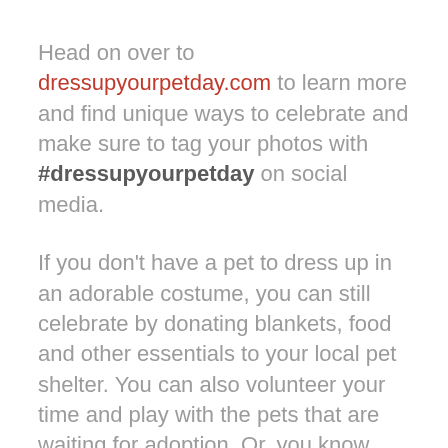Head on over to dressupyourpetday.com to learn more and find unique ways to celebrate and make sure to tag your photos with #dressupyourpetday on social media.
If you don't have a pet to dress up in an adorable costume, you can still celebrate by donating blankets, food and other essentials to your local pet shelter. You can also volunteer your time and play with the pets that are waiting for adoption. Or, you know, actually adopt a pet in need from a shelter or rescue.
However you choose to celebrate, we